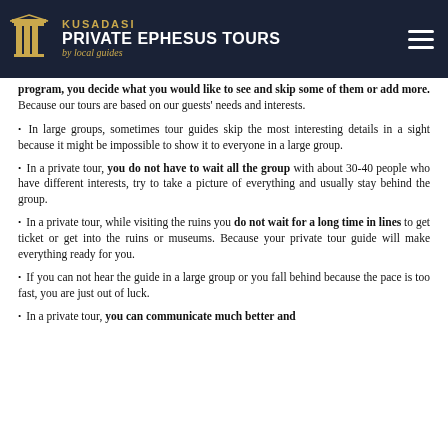KUSADASI PRIVATE EPHESUS TOURS by local guides
program, you decide what you would like to see and skip some of them or add more. Because our tours are based on our guests' needs and interests.
In large groups, sometimes tour guides skip the most interesting details in a sight because it might be impossible to show it to everyone in a large group.
In a private tour, you do not have to wait all the group with about 30-40 people who have different interests, try to take a picture of everything and usually stay behind the group.
In a private tour, while visiting the ruins you do not wait for a long time in lines to get ticket or get into the ruins or museums. Because your private tour guide will make everything ready for you.
If you can not hear the guide in a large group or you fall behind because the pace is too fast, you are just out of luck.
In a private tour, you can communicate much better and